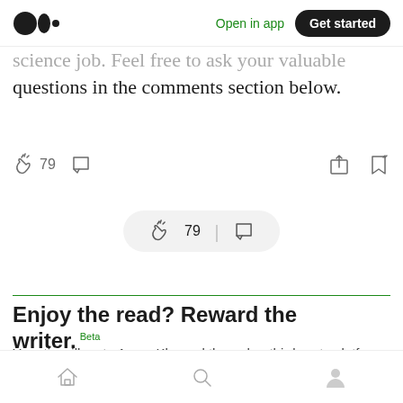Open in app | Get started
science job. Feel free to ask your valuable questions in the comments section below.
👏 79 💬
👏 79 | 💬
Enjoy the read? Reward the writer. Beta
Your tip will go to Aman Kharwal through a third-party platform of their choice, letting them know you appreciate their story.
Home | Search | Profile